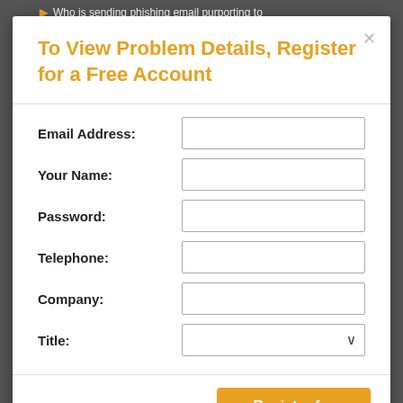To View Problem Details, Register for a Free Account
Email Address:
Your Name:
Password:
Telephone:
Company:
Title:
Terms  We respect your privacy
Register for Free